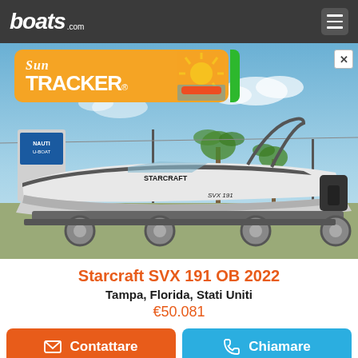boats.com
[Figure (photo): Starcraft SVX 191 OB 2022 boat on a trailer in a marina/dealer lot, with a Sun Tracker advertisement banner overlay at the top of the image. Blue sky and palm trees visible in background.]
Starcraft SVX 191 OB 2022
Tampa, Florida, Stati Uniti
€50.081
Contattare
Chiamare